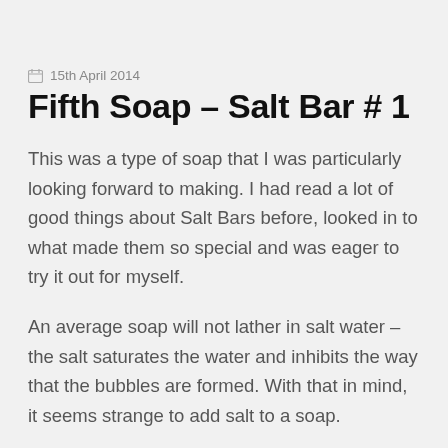15th April 2014
Fifth Soap – Salt Bar # 1
This was a type of soap that I was particularly looking forward to making.  I had read a lot of good things about Salt Bars before, looked in to what made them so special and was eager to try it out for myself.
An average soap will not lather in salt water – the salt saturates the water and inhibits the way that the bubbles are formed.   With that in mind, it seems strange to add salt to a soap.